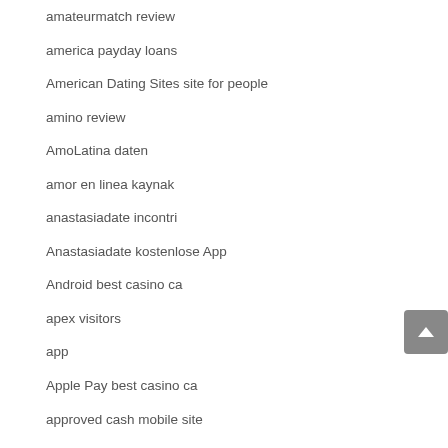amateurmatch review
america payday loans
American Dating Sites site for people
amino review
AmoLatina daten
amor en linea kaynak
anastasiadate incontri
Anastasiadate kostenlose App
Android best casino ca
apex visitors
app
Apple Pay best casino ca
approved cash mobile site
ardent kaynak
ardent review